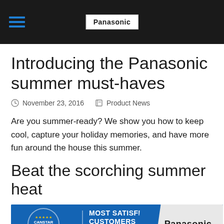Panasonic
Introducing the Panasonic summer must-haves
November 23, 2016   Product News
Are you summer-ready? We show you how to keep cool, capture your holiday memories, and have more fun around the house this summer.
Beat the scorching summer heat
[Figure (infographic): Canstar Blue award banner: Most Satisfied Customers - Air Conditioners 2016, with Panasonic logo]